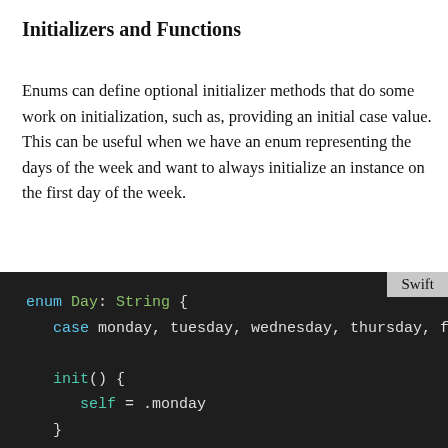Initializers and Functions
Enums can define optional initializer methods that do some work on initialization, such as, providing an initial case value. This can be useful when we have an enum representing the days of the week and want to always initialize an instance on the first day of the week.
[Figure (screenshot): Swift code block on dark background showing an enum Day: String with cases monday, tuesday, wednesday, thursday, fri... and an init() method setting self = .monday, followed by let firstDayOfWeek = Day()]